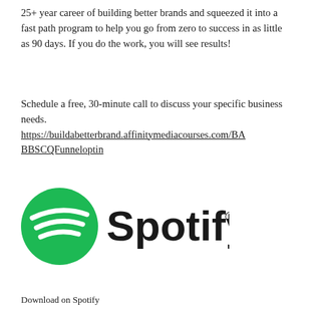25+ year career of building better brands and squeezed it into a fast path program to help you go from zero to success in as little as 90 days. If you do the work, you will see results!
Schedule a free, 30-minute call to discuss your specific business needs.
https://buildabetterbrand.affinitymediacourses.com/BABBSCQFunneloptin
[Figure (logo): Spotify logo: green circle with white sound wave icon and 'Spotify' wordmark in black with registered trademark symbol]
Download on Spotify